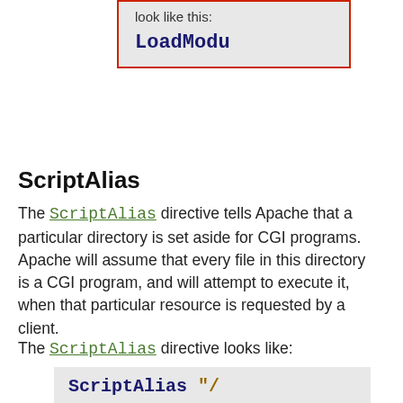[Figure (screenshot): Code box with red border showing 'LoadModu' in bold monospace on light gray background, with label 'look like this:' above]
ScriptAlias
The ScriptAlias directive tells Apache that a particular directory is set aside for CGI programs. Apache will assume that every file in this directory is a CGI program, and will attempt to execute it, when that particular resource is requested by a client.
The ScriptAlias directive looks like:
[Figure (screenshot): Code box showing 'ScriptAlias "/' in bold monospace on light gray background]
The example shown is